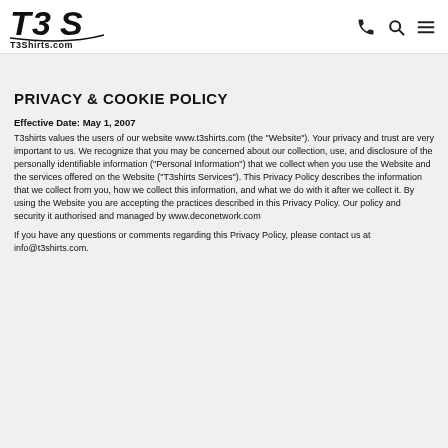T3Shirts.com — navigation header with logo and icons
PRIVACY & COOKIE POLICY
Effective Date: May 1, 2007
T3shirts values the users of our website www.t3shirts.com (the "Website"). Your privacy and trust are very important to us. We recognize that you may be concerned about our collection, use, and disclosure of the personally identifiable information ("Personal Information") that we collect when you use the Website and the services offered on the Website ("T3shirts Services"). This Privacy Policy describes the information that we collect from you, how we collect this information, and what we do with it after we collect it. By using the Website you are accepting the practices described in this Privacy Policy. Our policy and security it authorised and managed by www.deconetwork.com
If you have any questions or comments regarding this Privacy Policy, please contact us at info@t3shirts.com.